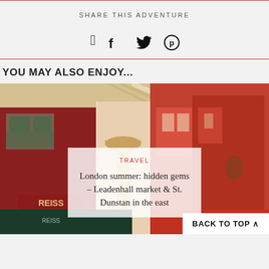SHARE THIS ADVENTURE
[Figure (other): Social media share icons: Facebook, Twitter, Pinterest]
YOU MAY ALSO ENJOY...
[Figure (photo): Photo of Leadenhall Market in London showing ornate Victorian architecture with red and cream details, with REISS shop visible]
TRAVEL
London summer: hidden gems – Leadenhall market & St. Dunstan in the east
BACK TO TOP